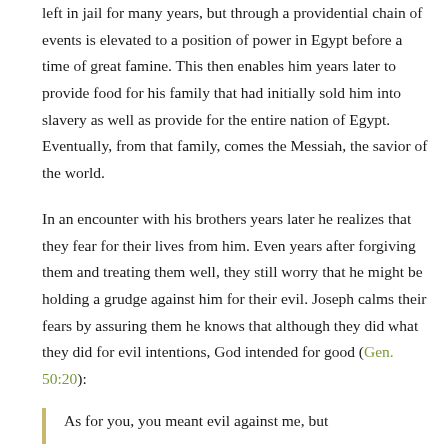left in jail for many years, but through a providential chain of events is elevated to a position of power in Egypt before a time of great famine. This then enables him years later to provide food for his family that had initially sold him into slavery as well as provide for the entire nation of Egypt. Eventually, from that family, comes the Messiah, the savior of the world.
In an encounter with his brothers years later he realizes that they fear for their lives from him. Even years after forgiving them and treating them well, they still worry that he might be holding a grudge against him for their evil. Joseph calms their fears by assuring them he knows that although they did what they did for evil intentions, God intended for good (Gen. 50:20):
As for you, you meant evil against me, but